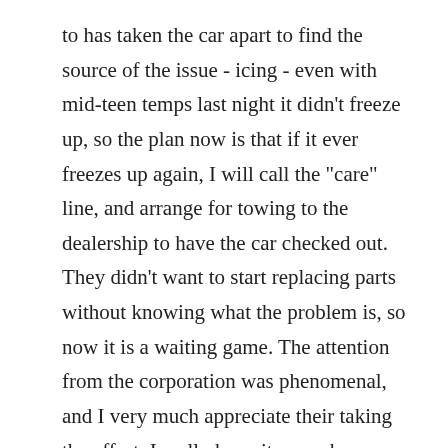to has taken the car apart to find the source of the issue - icing - even with mid-teen temps last night it didn't freeze up, so the plan now is that if it ever freezes up again, I will call the "care" line, and arrange for towing to the dealership to have the car checked out. They didn't want to start replacing parts without knowing what the problem is, so now it is a waiting game. The attention from the corporation was phenomenal, and I very much appreciate their taking the effort. I really hope it never happens again, but am assured that the company is making all effort to manage the issue.